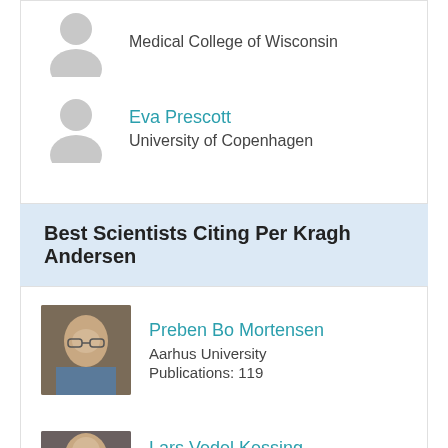[Figure (illustration): Placeholder person avatar icon (grey silhouette)]
Medical College of Wisconsin
[Figure (illustration): Placeholder person avatar icon (grey silhouette)]
Eva Prescott
University of Copenhagen
Best Scientists Citing Per Kragh Andersen
[Figure (photo): Photo of Preben Bo Mortensen]
Preben Bo Mortensen
Aarhus University
Publications: 119
[Figure (photo): Photo of Lars Vedel Kessing (partially visible)]
Lars Vedel Kessing
University of Copenhagen